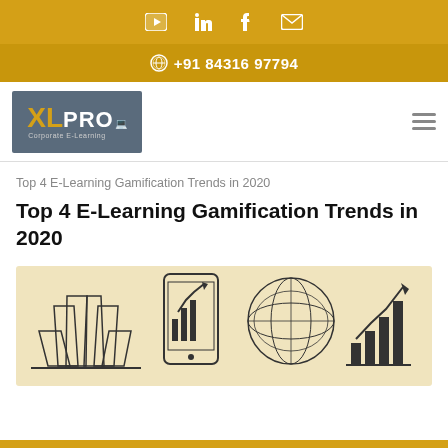Social media icons: YouTube, LinkedIn, Facebook, Email
+91 84316 97794
[Figure (logo): XLPro Corporate E-Learning logo on dark grey background with orange XL text]
Top 4 E-Learning Gamification Trends in 2020
Top 4 E-Learning Gamification Trends in 2020
[Figure (illustration): Banner illustration on beige background showing four icons: a stylized building/trophy, a smartphone with chart, a globe wireframe, and a bar chart with upward arrow]